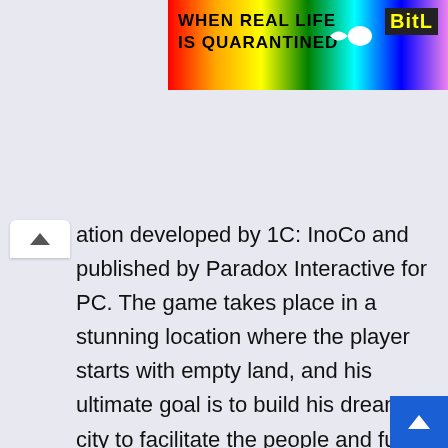[Figure (illustration): Colorful rainbow banner advertisement reading 'WHEN REAL LIFE IS QUARANTINED' with 'BitL' logo on right side]
ation developed by 1C: InoCo and published by Paradox Interactive for PC. The game takes place in a stunning location where the player starts with empty land, and his ultimate goal is to build his dream city to facilitate the people and fulfill their basic needs. On the other hand, evil forces are trying to disturb the peace using their unholy plans, and you are the last hope of the world who can stop those all.
The game features a Single-player campaign where it involves the player to defend the borders while fa...